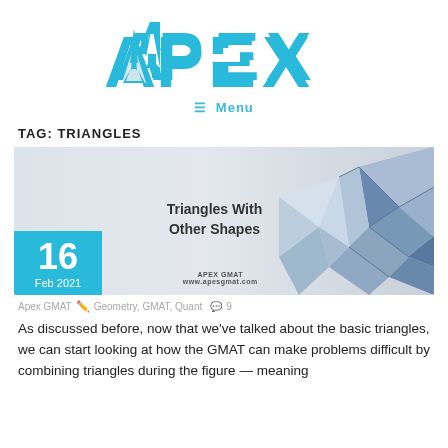[Figure (logo): APEX logo in cyan/turquoise color]
≡ Menu
TAG: TRIANGLES
[Figure (illustration): Blog post featured image showing '16 Feb 2021' date box in cyan, 'Triangles With Other Shapes' text, APEX GMAT www.apesgmat.com branding, and a 3D geometric triangular shape on the right]
Apex GMAT  ✏  Geometry, GMAT, Quant  💬 9
As discussed before, now that we've talked about the basic triangles, we can start looking at how the GMAT can make problems difficult by combining triangles during the figure — meaning